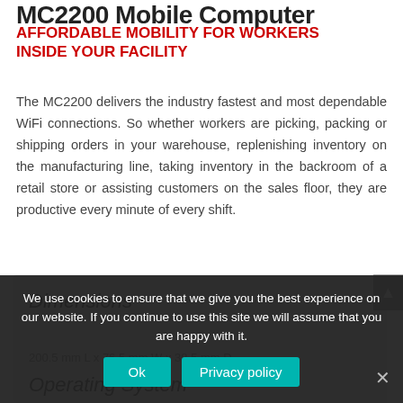MC2200 Mobile Computer
AFFORDABLE MOBILITY FOR WORKERS INSIDE YOUR FACILITY
The MC2200 delivers the industry fastest and most dependable WiFi connections. So whether workers are picking, packing or shipping orders in your warehouse, replenishing inventory on the manufacturing line, taking inventory in the backroom of a retail store or assisting customers on the sales floor, they are productive every minute of every shift.
Dimensions
200.5 mm L x 76.5 mm W x 38.5 mm D
Operating System
We use cookies to ensure that we give you the best experience on our website. If you continue to use this site we will assume that you are happy with it.